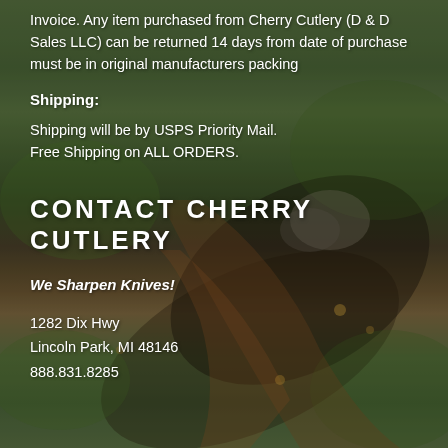Invoice. Any item purchased from Cherry Cutlery (D & D Sales LLC) can be returned 14 days from date of purchase must be in original manufacturers packing
Shipping:
Shipping will be by USPS Priority Mail.
Free Shipping on ALL ORDERS.
CONTACT CHERRY CUTLERY
We Sharpen Knives!
1282 Dix Hwy
Lincoln Park, MI 48146
888.831.8285